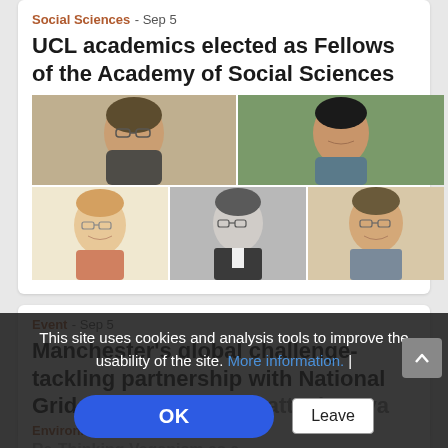Social Sciences - Sep 5
UCL academics elected as Fellows of the Academy of Social Sciences
[Figure (photo): Grid of five headshot photos of UCL academics]
Event - Sep 5
Manchester's global challenge-tackling partnership with National Grid shortlisted for Bhattacharyya Award
This site uses cookies and analysis tools to improve the usability of the site. More information. |
OK    Leave
Environment - Sep 5
Re-Thinking Veganism as a